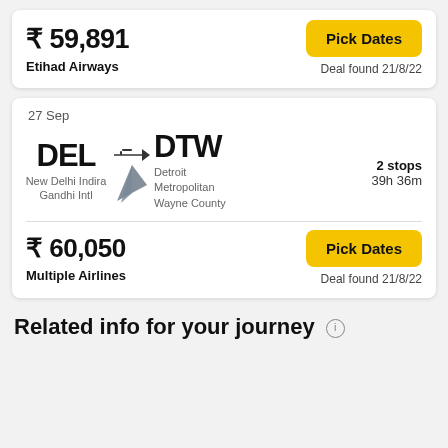₹ 59,891
Etihad Airways
Pick Dates
Deal found 21/8/22
27 Sep
DEL
New Delhi Indira Gandhi Intl
DTW
Detroit Metropolitan Wayne County
2 stops
39h 36m
₹ 60,050
Multiple Airlines
Pick Dates
Deal found 21/8/22
Related info for your journey